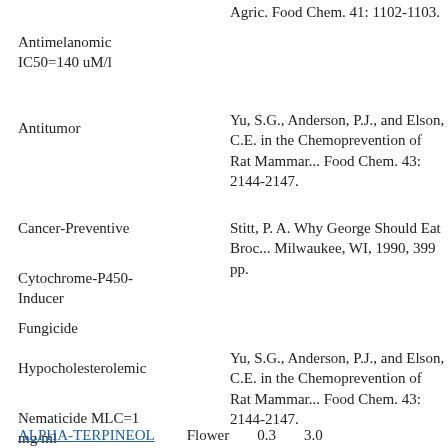Agric. Food Chem. 41: 1102-1103.
Antimelanomic IC50=140 uM/l
Antitumor
Yu, S.G., Anderson, P.J., and Elson, C.E. in the Chemoprevention of Rat Mammary... Food Chem. 43: 2144-2147.
Cancer-Preventive
Stitt, P. A. Why George Should Eat Broc... Milwaukee, WI, 1990, 399 pp.
Cytochrome-P450-Inducer
Fungicide
Hypocholesterolemic
Yu, S.G., Anderson, P.J., and Elson, C.E. in the Chemoprevention of Rat Mammary... Food Chem. 43: 2144-2147.
Nematicide MLC=1 mg/ml
Shoyakugaku Zasshi, 44: 183.
P450-Inducer
Pesticide
Trichomonicide LD100=100 ug/ml
ALPHA-TERPINEOL    Flower    0.3    3.0